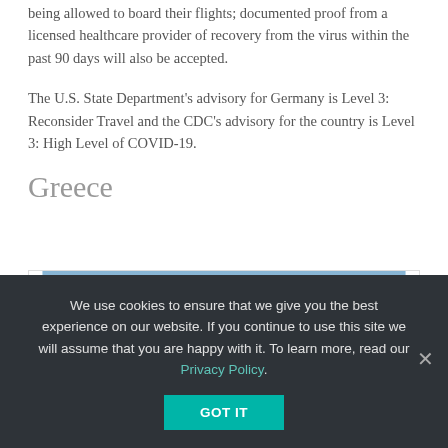being allowed to board their flights; documented proof from a licensed healthcare provider of recovery from the virus within the past 90 days will also be accepted.
The U.S. State Department's advisory for Germany is Level 3: Reconsider Travel and the CDC's advisory for the country is Level 3: High Level of COVID-19.
Greece
[Figure (photo): Photo of a Greek ancient temple (Parthenon or similar) with columns and pediment against a blue sky with light clouds]
We use cookies to ensure that we give you the best experience on our website. If you continue to use this site we will assume that you are happy with it. To learn more, read our Privacy Policy.